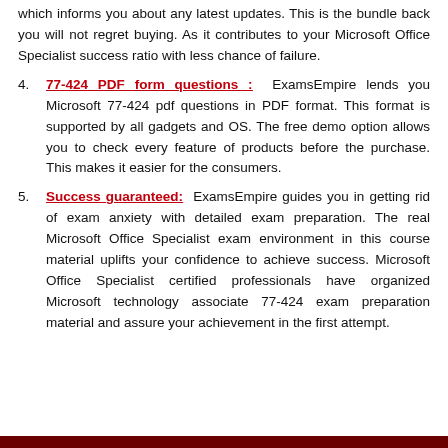which informs you about any latest updates. This is the bundle back you will not regret buying. As it contributes to your Microsoft Office Specialist success ratio with less chance of failure.
77-424 PDF form questions :  ExamsEmpire lends you Microsoft 77-424 pdf questions in PDF format. This format is supported by all gadgets and OS. The free demo option allows you to check every feature of products before the purchase. This makes it easier for the consumers.
Success guaranteed:  ExamsEmpire guides you in getting rid of exam anxiety with detailed exam preparation. The real Microsoft Office Specialist exam environment in this course material uplifts your confidence to achieve success. Microsoft Office Specialist certified professionals have organized Microsoft technology associate 77-424 exam preparation material and assure your achievement in the first attempt.